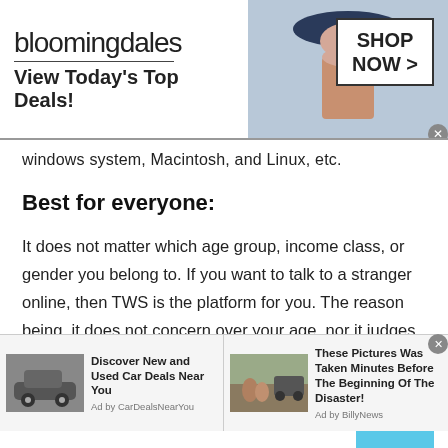[Figure (screenshot): Bloomingdale's advertisement banner with logo, 'View Today's Top Deals!' tagline, model photo, and 'SHOP NOW >' button]
windows system, Macintosh, and Linux, etc.
Best for everyone:
It does not matter which age group, income class, or gender you belong to. If you want to talk to a stranger online, then TWS is the platform for you. The reason being, it does not concern over your age, nor it judges its users over their income, neither it discriminates against other genders as well. It goes well with every person. If you are a teenager, it can
[Figure (screenshot): Two bottom advertisement panels: 'Discover New and Used Car Deals Near You' by CarDealsNearYou, and 'These Pictures Was Taken Minutes Before The Beginning Of The Disaster!' by BillyNews]